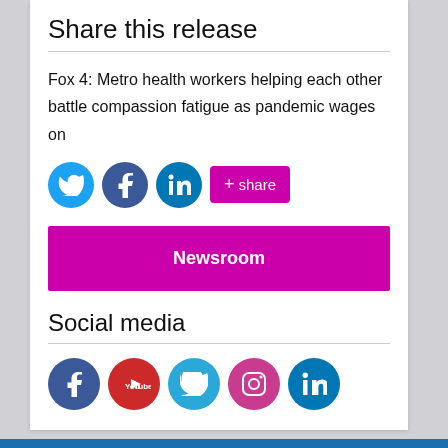Share this release
Fox 4: Metro health workers helping each other battle compassion fatigue as pandemic wages on
[Figure (infographic): Social sharing buttons: Twitter (blue circle), Facebook (dark blue circle), LinkedIn (teal circle), and a magenta '+share' button]
Newsroom
Social media
[Figure (infographic): Social media icon circles: Facebook (dark blue), YouTube (red), Twitter (light blue), Instagram (pink), LinkedIn (teal)]